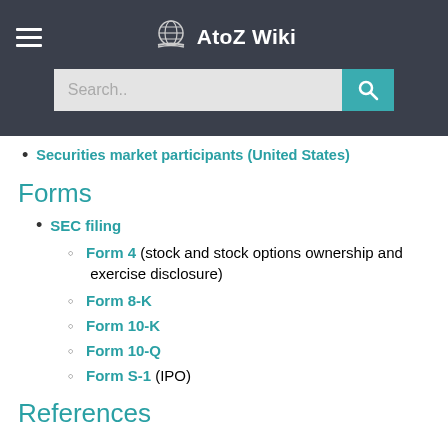[Figure (other): AtoZ Wiki website header with hamburger menu, globe/book logo, site name 'AtoZ Wiki', and search bar with teal search button]
Securities market participants (United States)
Forms
SEC filing
Form 4 (stock and stock options ownership and exercise disclosure)
Form 8-K
Form 10-K
Form 10-Q
Form S-1 (IPO)
References